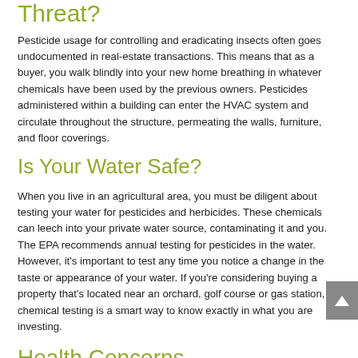Threat?
Pesticide usage for controlling and eradicating insects often goes undocumented in real-estate transactions. This means that as a buyer, you walk blindly into your new home breathing in whatever chemicals have been used by the previous owners. Pesticides administered within a building can enter the HVAC system and circulate throughout the structure, permeating the walls, furniture, and floor coverings.
Is Your Water Safe?
When you live in an agricultural area, you must be diligent about testing your water for pesticides and herbicides. These chemicals can leech into your private water source, contaminating it and you. The EPA recommends annual testing for pesticides in the water. However, it’s important to test any time you notice a change in the taste or appearance of your water. If you’re considering buying a property that’s located near an orchard, golf course or gas station, chemical testing is a smart way to know exactly in what you are investing.
Health Concerns